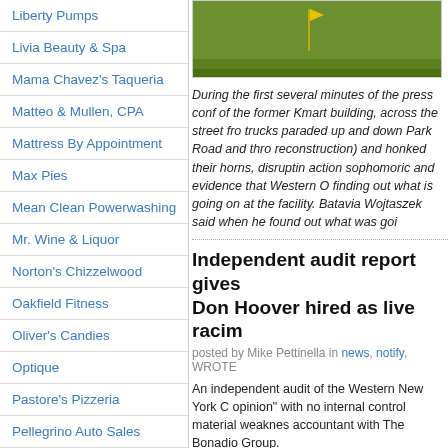Liberty Pumps
Livia Beauty & Spa
Mama Chavez's Taqueria
Matteo & Mullen, CPA
Mattress By Appointment
Max Pies
Mean Clean Powerwashing
Mr. Wine & Liquor
Norton's Chizzelwood
Oakfield Fitness
Oliver's Candies
Optique
Pastore's Pizzeria
Pellegrino Auto Sales
Pin Points
Rider Real Estate
Rochester Regional Health – UMMC
[Figure (photo): Green grass golf course with yellow flag pole]
During the first several minutes of the press conf of the former Kmart building, across the street fro trucks paraded up and down Park Road and thro reconstruction) and honked their horns, disruptin action sophomoric and evidence that Western O finding out what is going on at the facility. Batavia Wojtaszek said when he found out what was goi
Independent audit report gives Don Hoover hired as live racim
posted by Mike Pettinella in news, notify, WROTE
An independent audit of the Western New York C opinion" with no internal control material weaknes accountant with The Bonadio Group.
Randy Shepard, speaking at this morning's WRO Road facility, said the corporation's accounting p order.
"From an overall perspective, we did issue an u